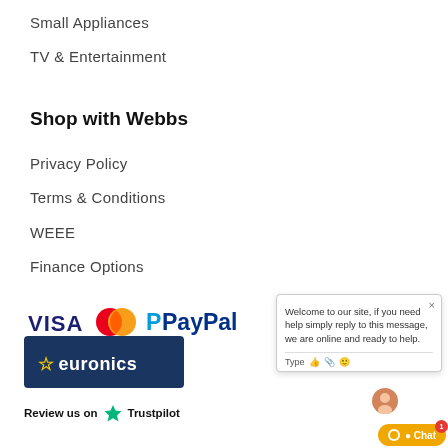Small Appliances
TV & Entertainment
Shop with Webbs
Privacy Policy
Terms & Conditions
WEEE
Finance Options
[Figure (logo): VISA, MasterCard, and PayPal payment logos]
[Figure (logo): Euronics logo — dark blue background with star and euronics text in yellow/white]
[Figure (logo): Review us on Trustpilot — green star and Trustpilot text]
[Figure (screenshot): Live chat popup widget with welcome message and chat button]